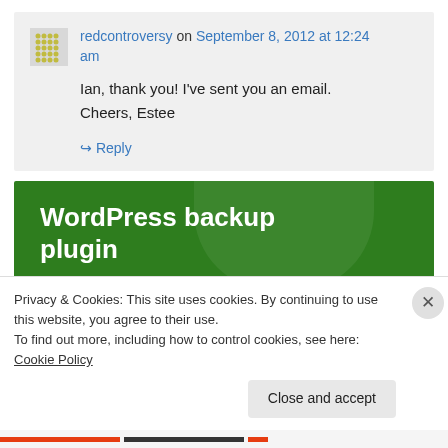redcontroversy on September 8, 2012 at 12:24 am
Ian, thank you! I've sent you an email. Cheers, Estee
↳ Reply
[Figure (other): WordPress backup plugin green banner advertisement]
Privacy & Cookies: This site uses cookies. By continuing to use this website, you agree to their use.
To find out more, including how to control cookies, see here: Cookie Policy
Close and accept